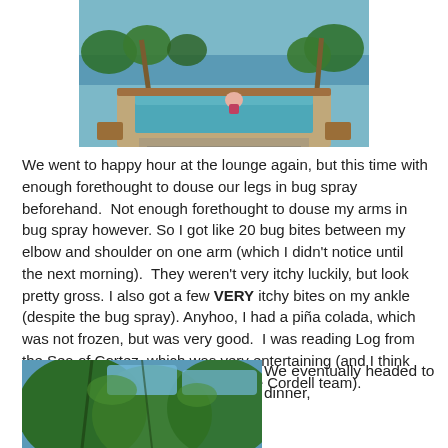[Figure (photo): Photo of an elevated rectangular plunge pool with wooden deck surround, a person sitting in the pool, tropical trees and ocean in the background.]
We went to happy hour at the lounge again, but this time with enough forethought to douse our legs in bug spray beforehand.  Not enough forethought to douse my arms in bug spray however. So I got like 20 bug bites between my elbow and shoulder on one arm (which I didn't notice until the next morning).  They weren't very itchy luckily, but look pretty gross. I also got a few VERY itchy bites on my ankle (despite the bug spray). Anyhoo, I had a piña colada, which was not frozen, but was very good.  I was reading Log from the Sea of Cortez, which was very entertaining (and I think should be mandatory reading for the Cordell team).
[Figure (photo): Photo of tropical vegetation with green foliage, palm trees and blue sky visible.]
We eventually headed to dinner,